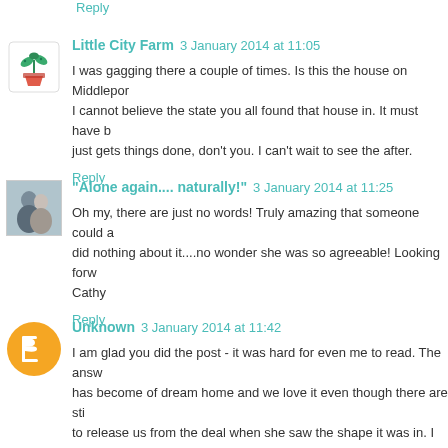Reply
Little City Farm  3 January 2014 at 11:05
I was gagging there a couple of times. Is this the house on Middleport... I cannot believe the state you all found that house in. It must have b... just gets things done, don't you. I can't wait to see the after.
Reply
"Alone again.... naturally!"  3 January 2014 at 11:25
Oh my, there are just no words! Truly amazing that someone could a... did nothing about it....no wonder she was so agreeable! Looking forw... Cathy
Reply
Unknown  3 January 2014 at 11:42
I am glad you did the post - it was hard for even me to read. The answ... has become of dream home and we love it even though there are stil... to release us from the deal when she saw the shape it was in. I am s... for new beginnings for everyone and everything.
Love Lynn www.etsy.com/shop/2becherised
Reply